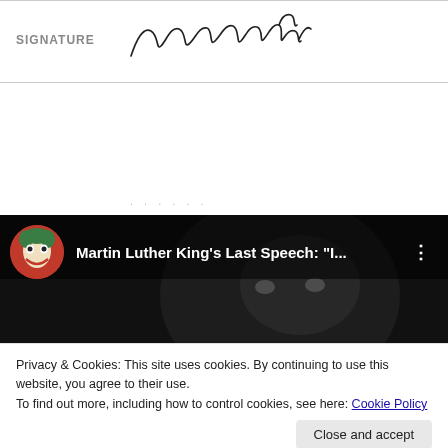[Figure (other): Signature field showing 'SIGNATURE' label on left and a cursive handwritten signature of Martin Luther King Jr. on the right]
[Figure (screenshot): YouTube video thumbnail/overlay showing 'Martin Luther King's Last Speech: "I...' with a Joker avatar icon and a man's face in the background]
Privacy & Cookies: This site uses cookies. By continuing to use this website, you agree to their use.
To find out more, including how to control cookies, see here: Cookie Policy
Close and accept